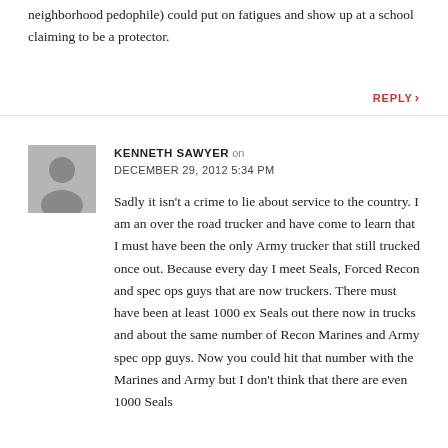neighborhood pedophile) could put on fatigues and show up at a school claiming to be a protector.
REPLY
KENNETH SAWYER on DECEMBER 29, 2012 5:34 PM
Sadly it isn't a crime to lie about service to the country. I am an over the road trucker and have come to learn that I must have been the only Army trucker that still trucked once out. Because every day I meet Seals, Forced Recon and spec ops guys that are now truckers. There must have been at least 1000 ex Seals out there now in trucks and about the same number of Recon Marines and Army spec opp guys. Now you could hit that number with the Marines and Army but I don't think that there are even 1000 Seals